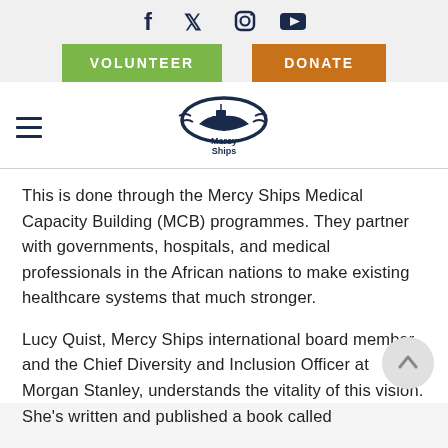[Figure (logo): Social media icons: Facebook, Twitter, Instagram, YouTube]
[Figure (other): VOLUNTEER green button and DONATE orange button]
[Figure (logo): Mercy Ships logo with ship illustration and text 'Mercy Ships']
This is done through the Mercy Ships Medical Capacity Building (MCB) programmes. They partner with governments, hospitals, and medical professionals in the African nations to make existing healthcare systems that much stronger.
Lucy Quist, Mercy Ships international board member and the Chief Diversity and Inclusion Officer at Morgan Stanley, understands the vitality of this vision. She's written and published a book called